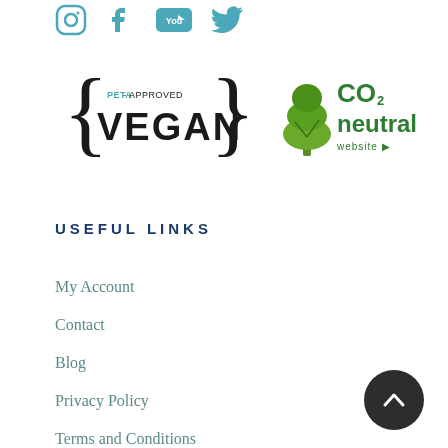[Figure (logo): Social media icons: Instagram, Facebook, YouTube, Twitter in teal/blue colors]
[Figure (logo): PETA-Approved Vegan badge with curly braces and CO2 neutral website badge with green tree]
USEFUL LINKS
My Account
Contact
Blog
Privacy Policy
Terms and Conditions
Cookie Policy
FAQs
Manufacturing